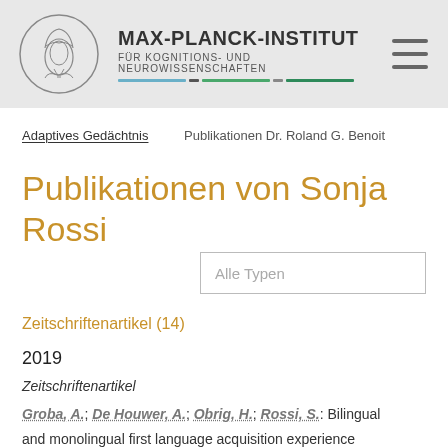MAX-PLANCK-INSTITUT FÜR KOGNITIONS- UND NEUROWISSENSCHAFTEN
Adaptives Gedächtnis   Publikationen Dr. Roland G. Benoit
Publikationen von Sonja Rossi
Alle Typen
Zeitschriftenartikel (14)
2019
Zeitschriftenartikel
Groba, A.; De Houwer, A.; Obrig, H.; Rossi, S.: Bilingual and monolingual first language acquisition experience